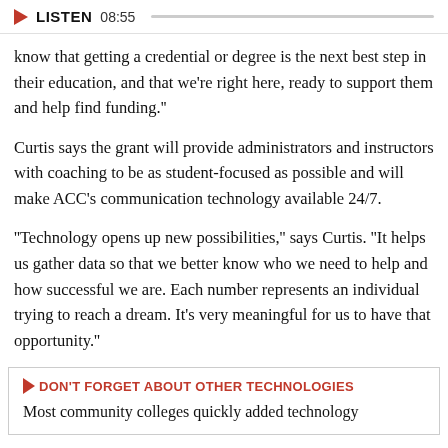LISTEN 08:55
know that getting a credential or degree is the next best step in their education, and that we're right here, ready to support them and help find funding."
Curtis says the grant will provide administrators and instructors with coaching to be as student-focused as possible and will make ACC's communication technology available 24/7.
"Technology opens up new possibilities," says Curtis. "It helps us gather data so that we better know who we need to help and how successful we are. Each number represents an individual trying to reach a dream. It's very meaningful for us to have that opportunity."
DON'T FORGET ABOUT OTHER TECHNOLOGIES
Most community colleges quickly added technology